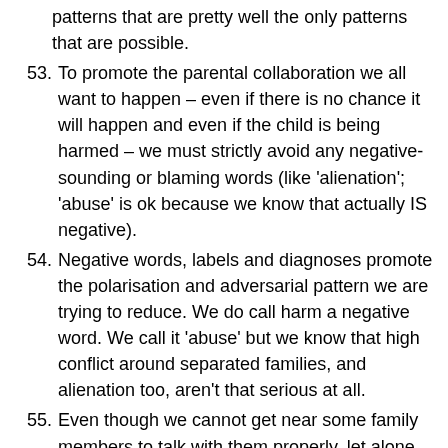patterns that are pretty well the only patterns that are possible.
53. To promote the parental collaboration we all want to happen – even if there is no chance it will happen and even if the child is being harmed – we must strictly avoid any negative-sounding or blaming words (like 'alienation'; 'abuse' is ok because we know that actually IS negative).
54. Negative words, labels and diagnoses promote the polarisation and adversarial pattern we are trying to reduce. We do call harm a negative word. We call it 'abuse' but we know that high conflict around separated families, and alienation too, aren't that serious at all.
55. Even though we cannot get near some family members to talk with them properly, let alone get the conflicted